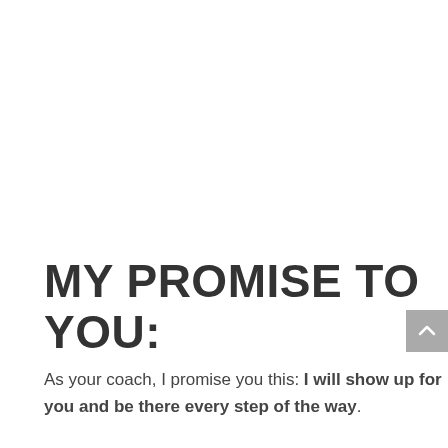MY PROMISE TO YOU:
As your coach, I promise you this: I will show up for you and be there every step of the way.